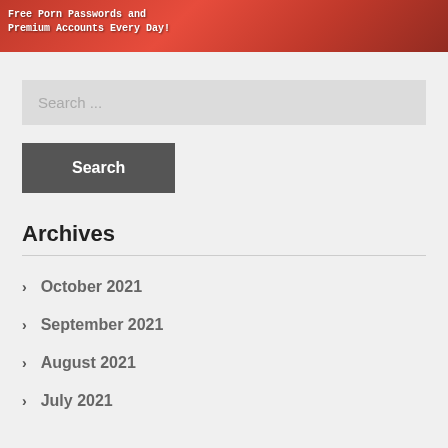[Figure (illustration): Banner image with red background showing partial figure and text overlay reading 'Free Porn Passwords and Premium Accounts Every Day!']
Search ...
Search
Archives
October 2021
September 2021
August 2021
July 2021